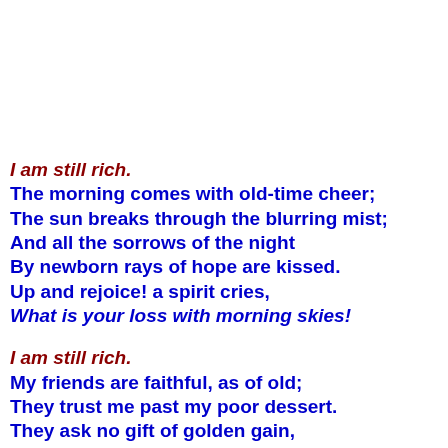I am still rich.
The morning comes with old-time cheer;
The sun breaks through the blurring mist;
And all the sorrows of the night
By newborn rays of hope are kissed.
Up and rejoice! a spirit cries,
What is your loss with morning skies!

I am still rich.
My friends are faithful, as of old;
They trust me past my poor dessert.
They ask no gift of golden gain,
But only love. With their strength girt,
Can I not face the road ahead,